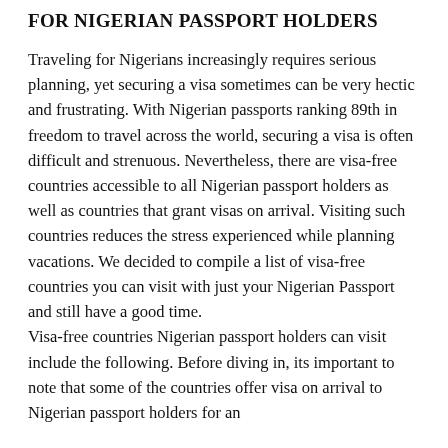FOR NIGERIAN PASSPORT HOLDERS
Traveling for Nigerians increasingly requires serious planning, yet securing a visa sometimes can be very hectic and frustrating. With Nigerian passports ranking 89th in freedom to travel across the world, securing a visa is often difficult and strenuous. Nevertheless, there are visa-free countries accessible to all Nigerian passport holders as well as countries that grant visas on arrival. Visiting such countries reduces the stress experienced while planning vacations. We decided to compile a list of visa-free countries you can visit with just your Nigerian Passport and still have a good time.
Visa-free countries Nigerian passport holders can visit include the following. Before diving in, its important to note that some of the countries offer visa on arrival to Nigerian passport holders for an